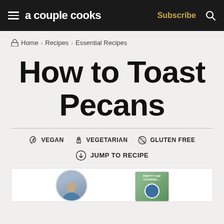a couple cooks — Subscribe
Home › Recipes › Essential Recipes
How to Toast Pecans
VEGAN   VEGETARIAN   GLUTEN FREE
JUMP TO RECIPE
[Figure (photo): Author photo circle and book thumbnail at bottom of page]